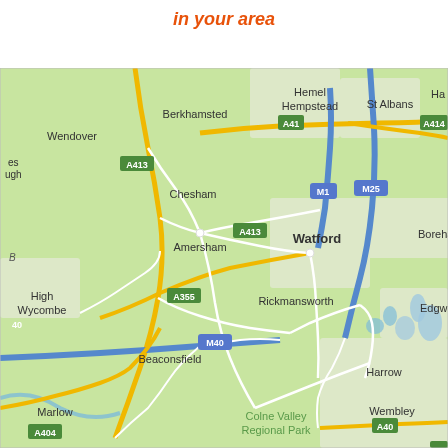in your area
[Figure (map): Google Maps style road map showing area west of London including Wendover, Berkhamsted, Hemel Hempstead, St Albans, Chesham, Amersham, Watford, Borehamwood, High Wycombe, Rickmansworth, Edgware, Beaconsfield, Harrow, Marlow, Wembley, Colne Valley Regional Park with motorways M1, M25, M40 and A-roads A413, A41, A414, A355, A404, A40]